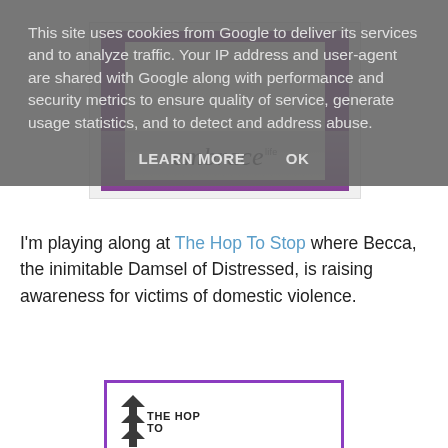[Figure (photo): A handmade card with a purple border, white panel, and cursive script reading 'embrace life', with its reflection visible below]
This site uses cookies from Google to deliver its services and to analyze traffic. Your IP address and user-agent are shared with Google along with performance and security metrics to ensure quality of service, generate usage statistics, and to detect and address abuse.
LEARN MORE   OK
I'm playing along at The Hop To Stop where Becca, the inimitable Damsel of Distressed, is raising awareness for victims of domestic violence.
[Figure (logo): The Hop To Stop logo with purple border, arrow graphics, and text reading 'THE HOP TO STOP' with 'OCTOBER 15-20' below]